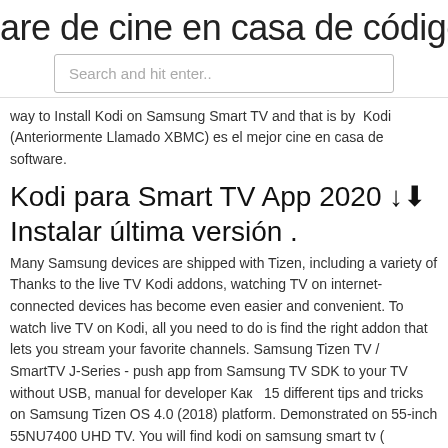are de cine en casa de código abiert
[Figure (screenshot): Search bar input field with placeholder text 'Search and hit enter..']
way to Install Kodi on Samsung Smart TV and that is by  Kodi (Anteriormente Llamado XBMC) es el mejor cine en casa de software.
Kodi para Smart TV App 2020 ↓⬇ Instalar última versión .
Many Samsung devices are shipped with Tizen, including a variety of Thanks to the live TV Kodi addons, watching TV on internet-connected devices has become even easier and convenient. To watch live TV on Kodi, all you need to do is find the right addon that lets you stream your favorite channels. Samsung Tizen TV / SmartTV J-Series - push app from Samsung TV SDK to your TV without USB, manual for developer Как   15 different tips and tricks on Samsung Tizen OS 4.0 (2018) platform. Demonstrated on 55-inch 55NU7400 UHD TV. You will find kodi on samsung smart tv ( Jailbreak A Smart Tv ). Please Follow Instructions mentioned in this